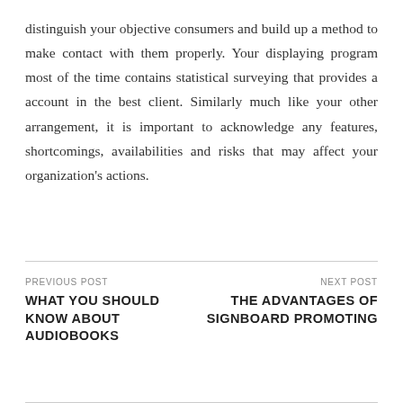distinguish your objective consumers and build up a method to make contact with them properly. Your displaying program most of the time contains statistical surveying that provides a account in the best client. Similarly much like your other arrangement, it is important to acknowledge any features, shortcomings, availabilities and risks that may affect your organization's actions.
PREVIOUS POST: WHAT YOU SHOULD KNOW ABOUT AUDIOBOOKS | NEXT POST: THE ADVANTAGES OF SIGNBOARD PROMOTING